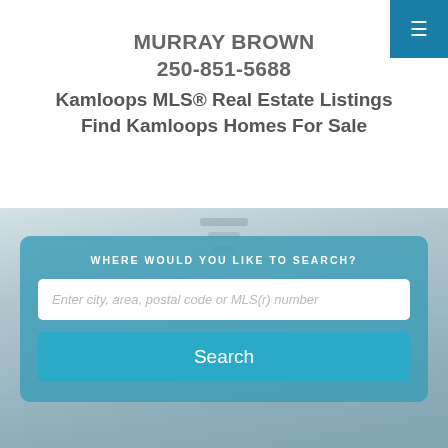MURRAY BROWN
250-851-5688
Kamloops MLS® Real Estate Listings
Find Kamloops Homes For Sale
[Figure (screenshot): Real estate website header with hamburger menu button in teal/blue, site title, phone number, taglines, and a search box overlay on a blurred interior photo background]
WHERE WOULD YOU LIKE TO SEARCH?
Enter city, area, postal code or MLS(r) number
Search